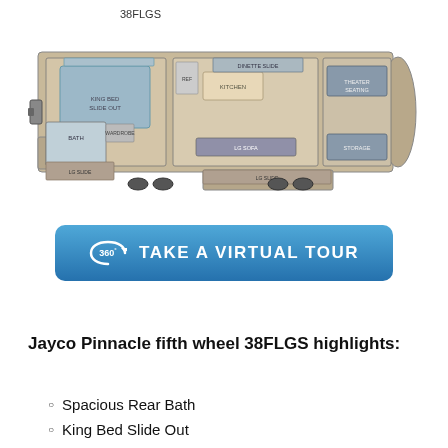38FLGS
[Figure (illustration): Top-down floor plan diagram of Jayco Pinnacle 38FLGS fifth wheel RV, showing bedroom with king bed slide-out, bathroom, living area, kitchen, and multiple slide-outs]
[Figure (infographic): Blue button reading '360° TAKE A VIRTUAL TOUR' with a 360-degree camera icon]
Jayco Pinnacle fifth wheel 38FLGS highlights:
Spacious Rear Bath
King Bed Slide Out